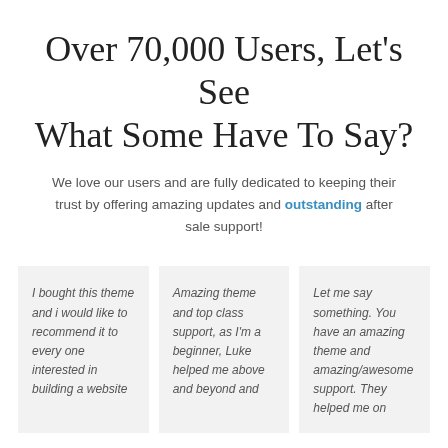Over 70,000 Users, Let's See What Some Have To Say?
We love our users and are fully dedicated to keeping their trust by offering amazing updates and outstanding after sale support!
I bought this theme and i would like to recommend it to every one interested in building a website
Amazing theme and top class support, as I'm a beginner, Luke helped me above and beyond and
Let me say something. You have an amazing theme and amazing/awesome support. They helped me on